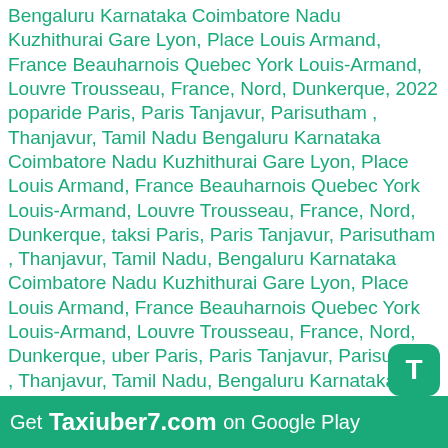Bengaluru Karnataka Coimbatore Nadu Kuzhithurai Gare Lyon, Place Louis Armand, France Beauharnois Quebec York Louis-Armand, Louvre Trousseau, France, Nord, Dunkerque, 2022 poparide Paris, Paris Tanjavur, Parisutham , Thanjavur, Tamil Nadu Bengaluru Karnataka Coimbatore Nadu Kuzhithurai Gare Lyon, Place Louis Armand, France Beauharnois Quebec York Louis-Armand, Louvre Trousseau, France, Nord, Dunkerque, taksi Paris, Paris Tanjavur, Parisutham , Thanjavur, Tamil Nadu, Bengaluru Karnataka Coimbatore Nadu Kuzhithurai Gare Lyon, Place Louis Armand, France Beauharnois Quebec York Louis-Armand, Louvre Trousseau, France, Nord, Dunkerque, uber Paris, Paris Tanjavur, Parisutham , Thanjavur, Tamil Nadu, Bengaluru Karnataka Coimbatore Nadu Kuzhithurai Gare Lyon, Place Louis Armand, France Beauharnois Quebec York Louis-Armand, Louvre Trousseau, France, Nord, Dunkerque, hitchhiking Paris, Paris Tanjavur, Parisutham , Thanjavur, Tamil Nadu, Bengaluru Karnataka Coimbatore Nadu Kuzhithurai Gare Lyon, Place Louis Armand, France Beauharnois Quebec York Louis Armand, Louvre Trousseau, France, Nord, Dunkerque, mitfahrgelegenheit Paris, Paris Tanjavur, Parisutham , Thanjavur, Tamil Nadu, Bengaluru Karnataka Coimbatore Nadu Kuzhithurai Gare Lyon, Place Louis Armand, France Beauharnois Quebec York Louis-Armand, Louvre Trousseau, France, Nord, Dunkerque, Parisutham , Thanjavur, Tamil Nadu, Bengaluru Karnataka Coimbatore Nadu Kuzhithurai Gare
[Figure (logo): App icon showing letter T on green rounded square background]
Get Taxiuber7.com on Google Play